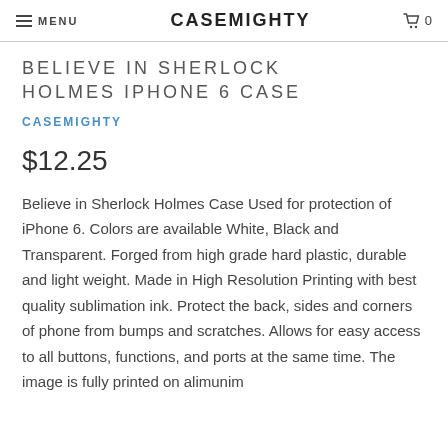MENU  CASEMIGHTY  0
BELIEVE IN SHERLOCK HOLMES IPHONE 6 CASE
CASEMIGHTY
$12.25
Believe in Sherlock Holmes Case Used for protection of iPhone 6. Colors are available White, Black and Transparent. Forged from high grade hard plastic, durable and light weight. Made in High Resolution Printing with best quality sublimation ink. Protect the back, sides and corners of phone from bumps and scratches. Allows for easy access to all buttons, functions, and ports at the same time. The image is fully printed on alimunim